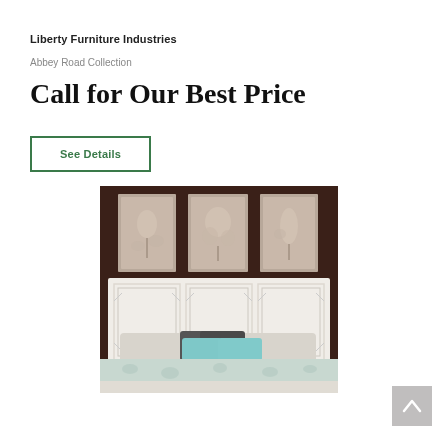Liberty Furniture Industries
Abbey Road Collection
Call for Our Best Price
See Details
[Figure (photo): White upholstered bed headboard with decorative paneling and pillows, set against dark brown wall with three botanical framed art prints above.]